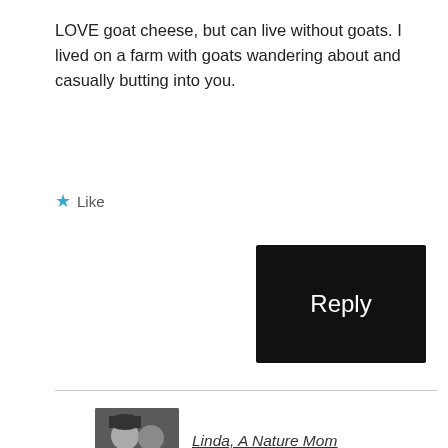LOVE goat cheese, but can live without goats. I lived on a farm with goats wandering about and casually butting into you.
Like
Reply
Linda, A Nature Mom
June 30, 2013 at 10:23 am
They can be pretty competitive! Did they chew your clothes, too?